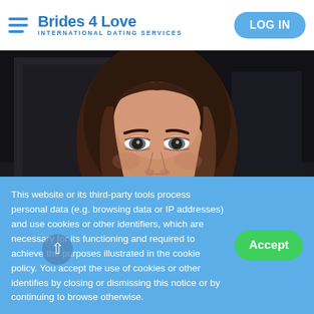Brides 4 Love — INTERNATIONAL DATING SERVICES | LOG IN
[Figure (photo): Close-up portrait of a young brunette woman with long hair, dramatic makeup, looking directly at camera. Dark background.]
This website or its third-party tools process personal data (e.g. browsing data or IP addresses) and use cookies or other identifiers, which are necessary for its functioning and required to achieve the purposes illustrated in the cookie policy. You accept the use of cookies or other identifies by closing or dismissing this notice or by continuing to browse otherwise.